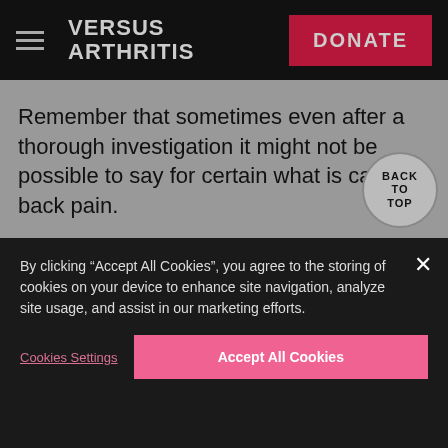VERSUS ARTHRITIS | DONATE
Remember that sometimes even after a thorough investigation it might not be possible to say for certain what is causing back pain.
SHARE THIS SECTION
BACK TO TOP
By clicking “Accept All Cookies”, you agree to the storing of cookies on your device to enhance site navigation, analyze site usage, and assist in our marketing efforts.
Cookies Settings
Accept All Cookies